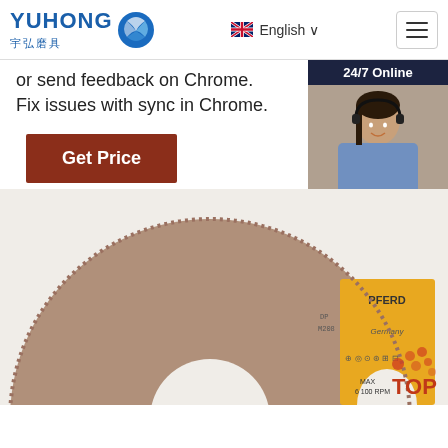YUHONG 宇弘磨具 — English navigation bar with hamburger menu
or send feedback on Chrome. Fix issues with sync in Chrome.
Get Price
[Figure (photo): Customer service representative with headset, 24/7 Online sidebar card with 'Click here for free chat!' and QUOTATION button]
[Figure (photo): PFERD abrasive grinding wheel / flap disc product photo, circular, Germany brand, with safety icons and max RPM label, partial view]
TOP